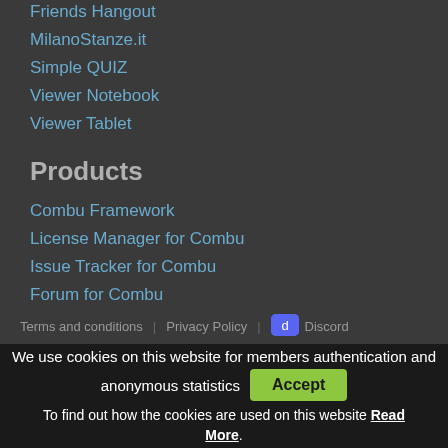Friends Hangout
MilanoStanze.it
Simple QUIZ
Viewer Notebook
Viewer Tablet
Products
Combu Framework
License Manager for Combu
Issue Tracker for Combu
Forum for Combu
Terms and conditions | Privacy Policy | Discord
We use cookies on this website for members authentication and anonymous statistics
To find out how the cookies are used on this website Read More.